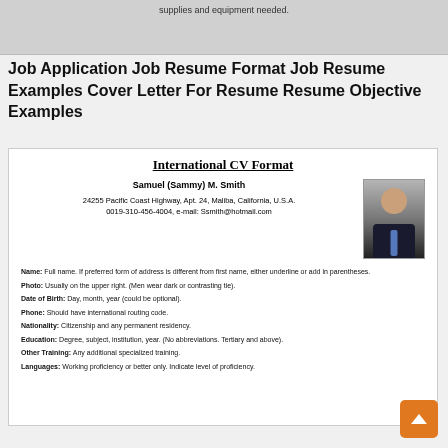[Figure (screenshot): Top portion of a document showing partial text about supplies and equipment needed.]
Job Application Job Resume Format Job Resume Examples Cover Letter For Resume Resume Objective Examples
[Figure (screenshot): International CV Format sample document showing Samuel (Sammy) M. Smith with photo, address, and field descriptions for Name, Photo, Date of Birth, Phone, Nationality, Education, Other Training, Languages.]
Name: Full name. If preferred form of address is different from first name, either underline or add in parentheses.
Photo: Usually on the upper right. (Men wear dark or contrasting tie).
Date of Birth: Day, month, year (could be optional).
Phone: Should have international routing code.
Nationality: Citizenship and any permanent residency.
Education: Degree, subject, institution, year. (No abbreviations. Tertiary and above).
Other Training: Any additional specialized training.
Languages: Working proficiency or better only. Indicate level of proficiency.